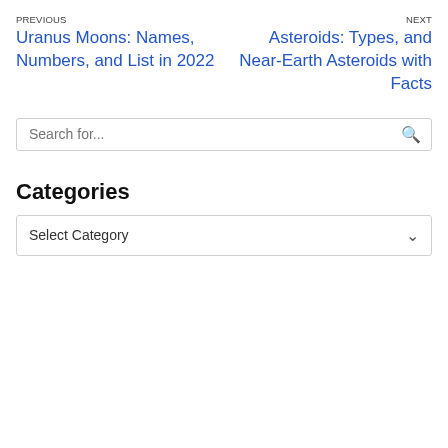PREVIOUS
NEXT
Uranus Moons: Names, Numbers, and List in 2022
Asteroids: Types, and Near-Earth Asteroids with Facts
Search for...
Categories
Select Category